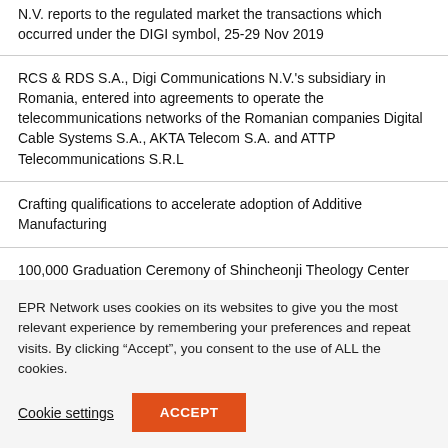N.V. reports to the regulated market the transactions which occurred under the DIGI symbol, 25-29 Nov 2019
RCS & RDS S.A., Digi Communications N.V.'s subsidiary in Romania, entered into agreements to operate the telecommunications networks of the Romanian companies Digital Cable Systems S.A., AKTA Telecom S.A. and ATTP Telecommunications S.R.L
Crafting qualifications to accelerate adoption of Additive Manufacturing
100,000 Graduation Ceremony of Shincheonji Theology Center Held over 112 countries
EPR Network uses cookies on its websites to give you the most relevant experience by remembering your preferences and repeat visits. By clicking “Accept”, you consent to the use of ALL the cookies.
Cookie settings | ACCEPT